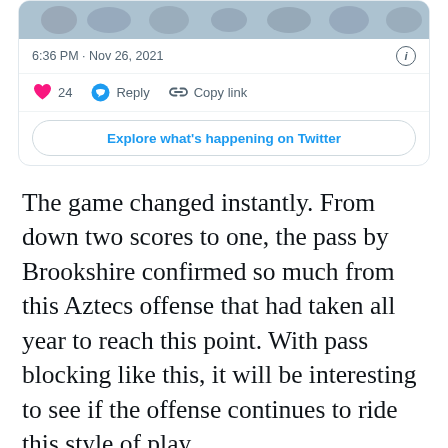[Figure (screenshot): Twitter/X tweet card showing timestamp 6:36 PM · Nov 26, 2021, with photo strip at top, like count of 24, Reply and Copy link actions, and an Explore what's happening on Twitter button]
The game changed instantly. From down two scores to one, the pass by Brookshire confirmed so much from this Aztecs offense that had taken all year to reach this point. With pass blocking like this, it will be interesting to see if the offense continues to ride this style of play.
Aztecs 10 Broncos 16
With just a minute and a half left in the